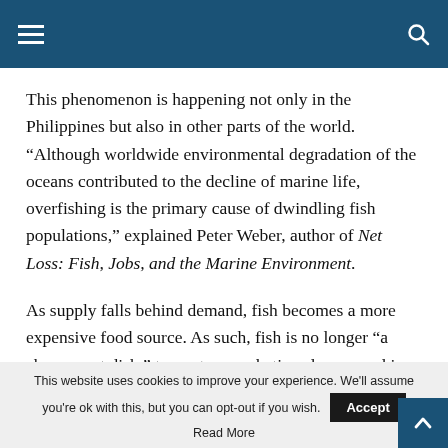Navigation bar with hamburger menu and search icon
This phenomenon is happening not only in the Philippines but also in other parts of the world. “Although worldwide environmental degradation of the oceans contributed to the decline of marine life, overfishing is the primary cause of dwindling fish populations,” explained Peter Weber, author of Net Loss: Fish, Jobs, and the Marine Environment.
As supply falls behind demand, fish becomes a more expensive food source. As such, fish is no longer “a cheap meat dish,” to quote a marketing slogan used in
This website uses cookies to improve your experience. We'll assume you're ok with this, but you can opt-out if you wish. Accept Read More